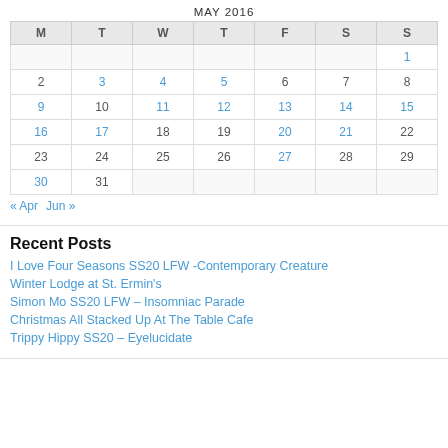| M | T | W | T | F | S | S |
| --- | --- | --- | --- | --- | --- | --- |
|  |  |  |  |  |  | 1 |
| 2 | 3 | 4 | 5 | 6 | 7 | 8 |
| 9 | 10 | 11 | 12 | 13 | 14 | 15 |
| 16 | 17 | 18 | 19 | 20 | 21 | 22 |
| 23 | 24 | 25 | 26 | 27 | 28 | 29 |
| 30 | 31 |  |  |  |  |  |
« Apr  Jun »
Recent Posts
I Love Four Seasons SS20 LFW -Contemporary Creature
Winter Lodge at St. Ermin's
Simon Mo SS20 LFW – Insomniac Parade
Christmas All Stacked Up At The Table Cafe
Trippy Hippy SS20 – Eyelucidate